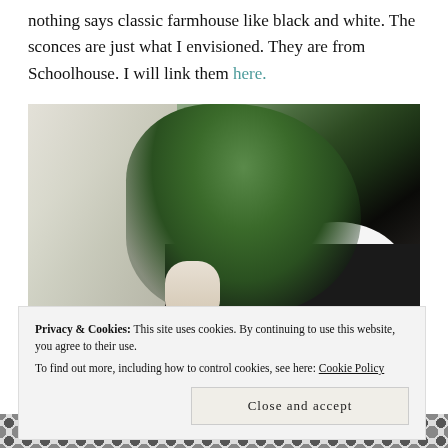nothing says classic farmhouse like black and white. The sconces are just what I envisioned. They are from Schoolhouse. I will link them here.
[Figure (photo): A bathroom vanity with a black stone countertop, a white undermount sink with chrome faucet, and a large vase filled with eucalyptus and greenery. Natural window light comes from the left.]
Privacy & Cookies: This site uses cookies. By continuing to use this website, you agree to their use.
To find out more, including how to control cookies, see here: Cookie Policy
Close and accept
[Figure (photo): Bottom strip showing a black and white hexagonal tile floor pattern.]